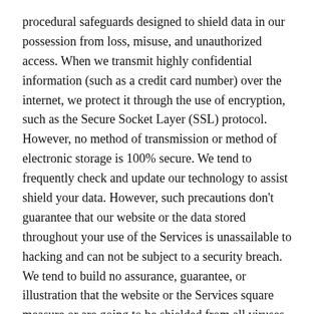procedural safeguards designed to shield data in our possession from loss, misuse, and unauthorized access. When we transmit highly confidential information (such as a credit card number) over the internet, we protect it through the use of encryption, such as the Secure Socket Layer (SSL) protocol. However, no method of transmission or method of electronic storage is 100% secure. We tend to frequently check and update our technology to assist shield your data. However, such precautions don't guarantee that our website or the data stored throughout your use of the Services is unassailable to hacking and can not be subject to a security breach. We tend to build no assurance, guarantee, or illustration that the website or the Services square measure or are going to be shielded from all viruses, security threats or different vulnerabilities or that your info can invariably be secure.
Links to Other Sites
For the convenience of our visitors and clients, the website may contain links to different sites, like those of our partners or vendors, that are subject to completely different privacy policies. The Policy may change our use of different...